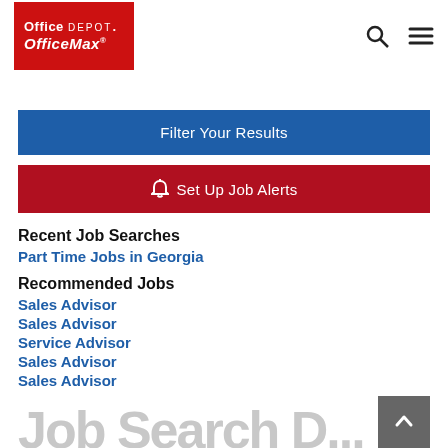[Figure (logo): Office Depot OfficeMax logo on red background with search and hamburger menu icons]
Filter Your Results
Set Up Job Alerts
Recent Job Searches
Part Time Jobs in Georgia
Recommended Jobs
Sales Advisor
Sales Advisor
Service Advisor
Sales Advisor
Sales Advisor